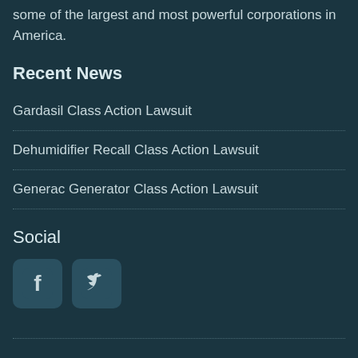some of the largest and most powerful corporations in America.
Recent News
Gardasil Class Action Lawsuit
Dehumidifier Recall Class Action Lawsuit
Generac Generator Class Action Lawsuit
Social
[Figure (logo): Facebook and Twitter social media icons]